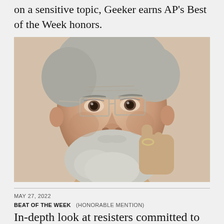on a sensitive topic, Geeker earns AP's Best of the Week honors.
[Figure (photo): Close-up portrait of an elderly man with gray-white hair and beard, wearing rectangular wire-frame glasses, resting his finger on his cheek, wearing a ring on his right hand.]
MAY 27, 2022
BEAT OF THE WEEK   (HONORABLE MENTION)
In-depth look at resisters committed to abortion access